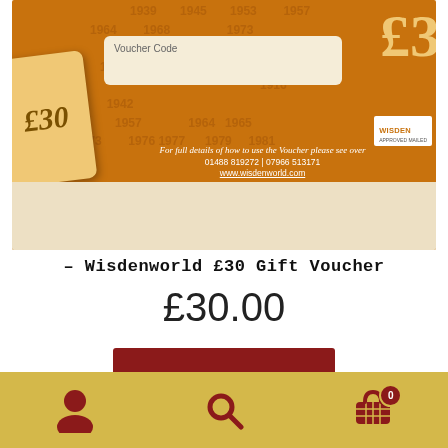[Figure (photo): Wisdenworld £30 Gift Voucher product image showing orange card with years printed, a cream tag showing £30, a voucher code input field, contact details and Wisden logo badge]
– Wisdenworld £30 Gift Voucher
£30.00
View product
[Figure (screenshot): Bottom navigation bar with user account icon, search icon, and shopping cart icon with badge showing 0]